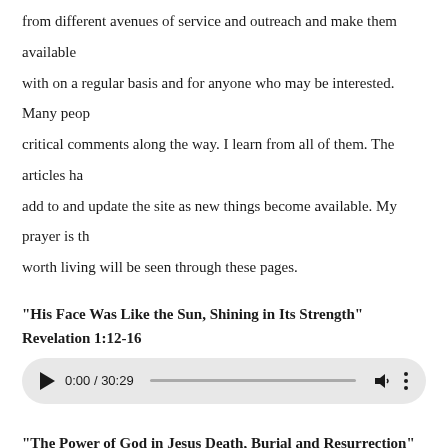from different avenues of service and outreach and make them available with on a regular basis and for anyone who may be interested. Many peop critical comments along the way. I learn from all of them. The articles ha add to and update the site as new things become available. My prayer is th worth living will be seen through these pages.
"His Face Was Like the Sun, Shining in Its Strength"
Revelation 1:12-16
[Figure (screenshot): Audio player showing 0:00 / 30:29 with play button, progress bar, volume icon, and options menu]
"The Power of God in Jesus Death, Burial and Resurrection"
The Gospel in 1 and 2 Corinthians
[Figure (screenshot): Audio player showing 0:00 / 40:25 with play button, progress bar, volume icon, and options menu]